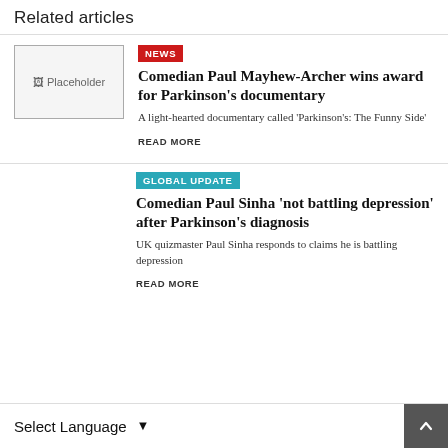Related articles
[Figure (photo): Placeholder image thumbnail for related article]
NEWS
Comedian Paul Mayhew-Archer wins award for Parkinson's documentary
A light-hearted documentary called 'Parkinson's: The Funny Side'
READ MORE
GLOBAL UPDATE
Comedian Paul Sinha 'not battling depression' after Parkinson's diagnosis
UK quizmaster Paul Sinha responds to claims he is battling depression
READ MORE
Select Language